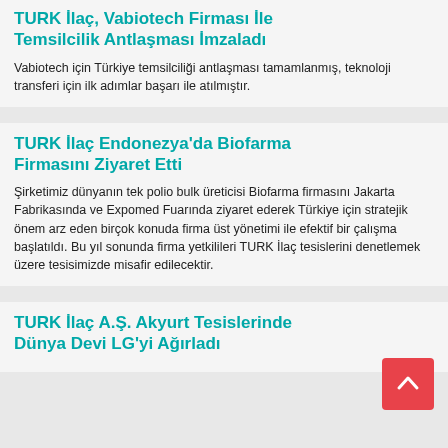TURK İlaç, Vabiotech Firması İle Temsilcilik Antlaşması İmzaladı
Vabiotech için Türkiye temsilciliği antlaşması tamamlanmış, teknoloji transferi için ilk adımlar başarı ile atılmıştır.
TURK İlaç Endonezya'da Biofarma Firmasını Ziyaret Etti
Şirketimiz dünyanın tek polio bulk üreticisi Biofarma firmasını Jakarta Fabrikasında ve Expomed Fuarında ziyaret ederek Türkiye için stratejik önem arz eden birçok konuda firma üst yönetimi ile efektif bir çalışma başlatıldı. Bu yıl sonunda firma yetkilileri TURK İlaç tesislerini denetlemek üzere tesisimizde misafir edilecektir.
TURK İlaç A.Ş. Akyurt Tesislerinde Dünya Devi LG'yi Ağırladı